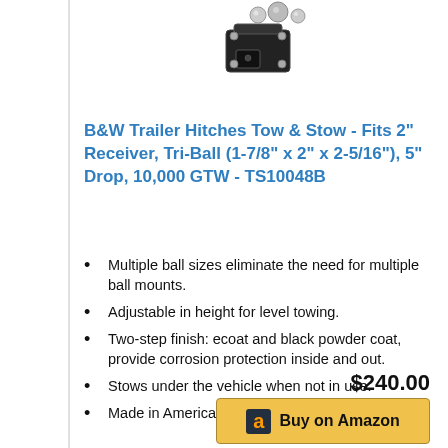[Figure (photo): Product photo of B&W Trailer Hitch Tow & Stow tri-ball hitch mount, black with chrome balls]
B&W Trailer Hitches Tow & Stow - Fits 2" Receiver, Tri-Ball (1-7/8" x 2" x 2-5/16"), 5" Drop, 10,000 GTW - TS10048B
Multiple ball sizes eliminate the need for multiple ball mounts.
Adjustable in height for level towing.
Two-step finish: ecoat and black powder coat, provide corrosion protection inside and out.
Stows under the vehicle when not in use.
Made in America with a Limited Lifetime Warranty
$240.00
Buy on Amazon